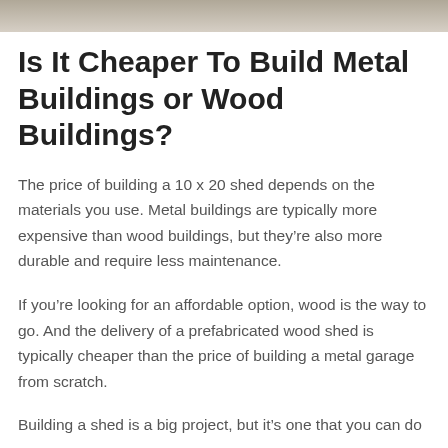[Figure (photo): Top portion of an outdoor photo, likely a shed or building exterior, clipped at the top of the page.]
Is It Cheaper To Build Metal Buildings or Wood Buildings?
The price of building a 10 x 20 shed depends on the materials you use. Metal buildings are typically more expensive than wood buildings, but they’re also more durable and require less maintenance.
If you’re looking for an affordable option, wood is the way to go. And the delivery of a prefabricated wood shed is typically cheaper than the price of building a metal garage from scratch.
Building a shed is a big project, but it’s one that you can do